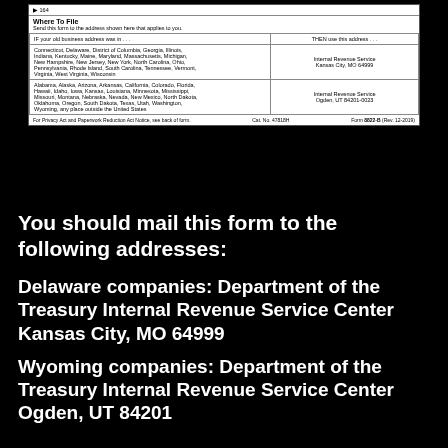[Figure (screenshot): Scanned portion of IRS Form 8822-B showing 'Where To File' table with mailing addresses for Internal Revenue Service in Kansas City, MO 64999 and Ogden, UT 84201-0023, along with a footer referencing Privacy Act and Paperwork Reduction Act Notice.]
You should mail this form to the following addresses:
Delaware companies: Department of the Treasury Internal Revenue Service Center Kansas City, MO 64999
Wyoming companies: Department of the Treasury Internal Revenue Service Center Ogden, UT 84201